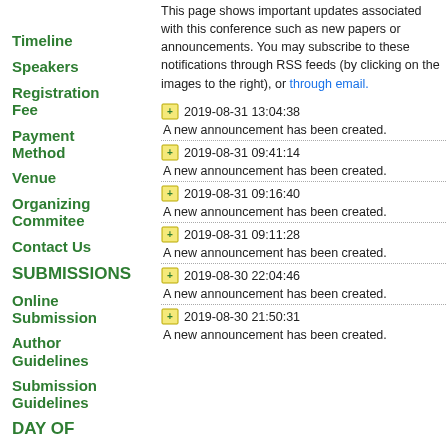This page shows important updates associated with this conference such as new papers or announcements. You may subscribe to these notifications through RSS feeds (by clicking on the images to the right), or through email.
Timeline
Speakers
Registration Fee
Payment Method
Venue
Organizing Commitee
Contact Us
SUBMISSIONS
Online Submission
Author Guidelines
Submission Guidelines
DAY OF
2019-08-31 13:04:38
A new announcement has been created.
2019-08-31 09:41:14
A new announcement has been created.
2019-08-31 09:16:40
A new announcement has been created.
2019-08-31 09:11:28
A new announcement has been created.
2019-08-30 22:04:46
A new announcement has been created.
2019-08-30 21:50:31
A new announcement has been created.